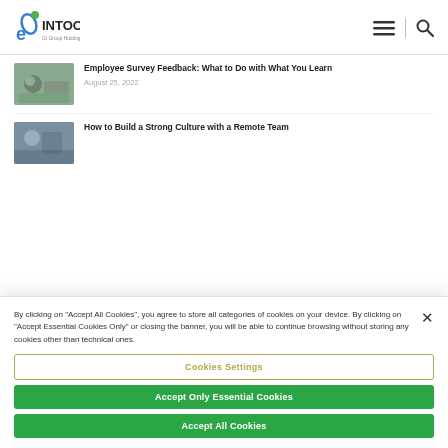INTOO (Gi Group Holding)
Employee Survey Feedback: What to Do with What You Learn
August 25, 2022
How to Build a Strong Culture with a Remote Team
By clicking on "Accept All Cookies", you agree to store all categories of cookies on your device. By clicking on "Accept Essential Cookies Only" or closing the banner, you will be able to continue browsing without storing any cookies other than technical ones.
Cookies Settings
Accept Only Essential Cookies
Accept All Cookies